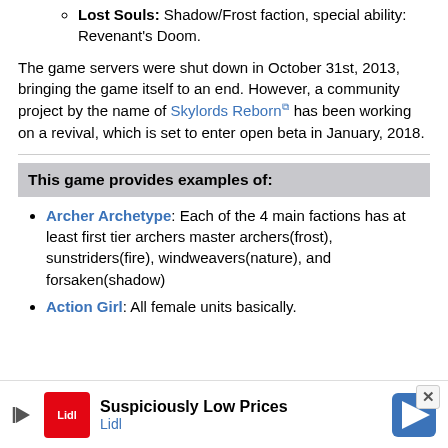Lost Souls: Shadow/Frost faction, special ability: Revenant's Doom.
The game servers were shut down in October 31st, 2013, bringing the game itself to an end. However, a community project by the name of Skylords Reborn has been working on a revival, which is set to enter open beta in January, 2018.
This game provides examples of:
Archer Archetype: Each of the 4 main factions has at least first tier archers master archers(frost), sunstriders(fire), windweavers(nature), and forsaken(shadow)
Action Girl: All female units basically.
[Figure (infographic): Lidl advertisement banner with logo, play button, 'Suspiciously Low Prices' headline, and Lidl branding with blue navigation arrow icon]